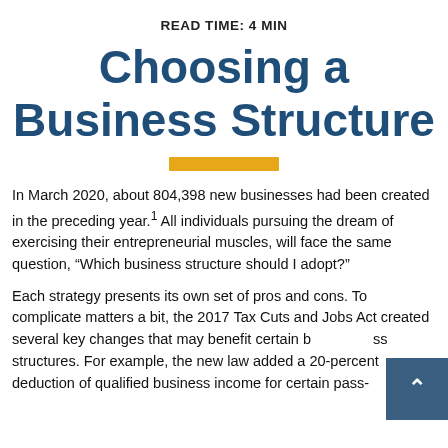READ TIME: 4 MIN
Choosing a Business Structure
[Figure (other): Gold/yellow horizontal decorative bar divider]
In March 2020, about 804,398 new businesses had been created in the preceding year.¹ All individuals pursuing the dream of exercising their entrepreneurial muscles, will face the same question, “Which business structure should I adopt?”
Each strategy presents its own set of pros and cons. To complicate matters a bit, the 2017 Tax Cuts and Jobs Act created several key changes that may benefit certain business structures. For example, the new law added a 20-percent deduction of qualified business income for certain pass-